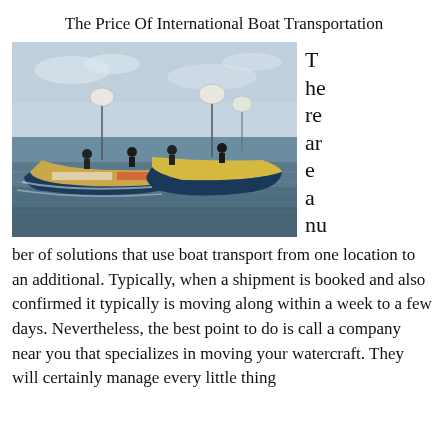The Price Of International Boat Transportation
[Figure (photo): Two fishing boats on choppy ocean water with people on board and white flags/banners flying]
There are a number of solutions that use boat transport from one location to an additional. Typically, when a shipment is booked and also confirmed it typically is moving along within a week to a few days. Nevertheless, the best point to do is call a company near you that specializes in moving your watercraft. They will certainly manage every little thing